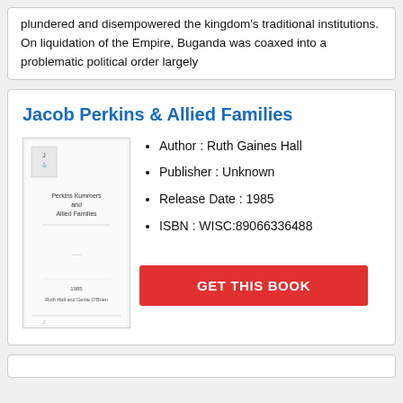plundered and disempowered the kingdom's traditional institutions. On liquidation of the Empire, Buganda was coaxed into a problematic political order largely
Jacob Perkins & Allied Families
[Figure (illustration): Book cover thumbnail for Jacob Perkins & Allied Families, showing title page with text 'Perkins Kummers and Allied Families', '1985', 'Ruth Hall and Gertie O'Brien']
Author : Ruth Gaines Hall
Publisher : Unknown
Release Date : 1985
ISBN : WISC:89066336488